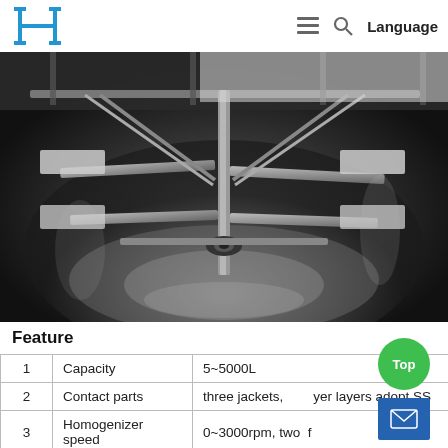H [logo] | ≡ 🔍 Language
[Figure (photo): Interior view of a large stainless steel industrial mixing/homogenizer vessel, looking down into the tank showing agitator blades and baffles, with reflective steel surfaces]
Feature
|  |  |  |
| --- | --- | --- |
| 1 | Capacity | 5~5000L |
| 2 | Contact parts | three jackets, [Top] ayer layers adopt SS... |
| 3 | Homogenizer speed | 0~3000rpm, two f |